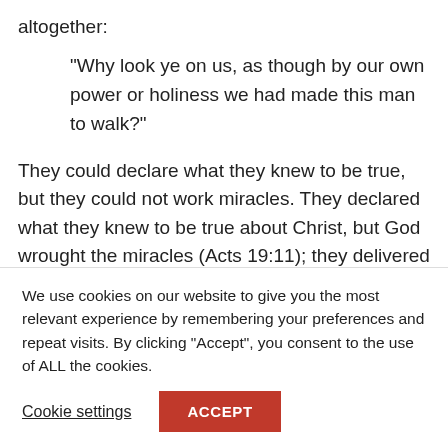altogether:
“Why look ye on us, as though by our own power or holiness we had made this man to walk?”
They could declare what they knew to be true, but they could not work miracles. They declared what they knew to be true about Christ, but God wrought the miracles (Acts 19:11); they delivered the testimony which the miracles were intended to confirm. What was the testimony? In what bearing were they Christ’s “witnesses” as he said they would
We use cookies on our website to give you the most relevant experience by remembering your preferences and repeat visits. By clicking “Accept”, you consent to the use of ALL the cookies.
Cookie settings
ACCEPT